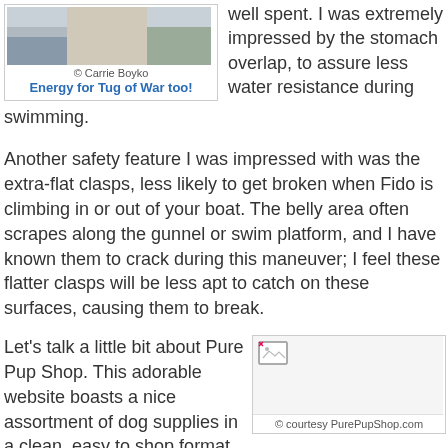[Figure (photo): Dog photo cropped at top, partially visible]
© Carrie Boyko
Energy for Tug of War too!
well spent. I was extremely impressed by the stomach overlap, to assure less water resistance during swimming.
Another safety feature I was impressed with was the extra-flat clasps, less likely to get broken when Fido is climbing in or out of your boat. The belly area often scrapes along the gunnel or swim platform, and I have known them to crack during this maneuver; I feel these flatter clasps will be less apt to catch on these surfaces, causing them to break.
Let's talk a little bit about Pure Pup Shop. This adorable website boasts a nice assortment of dog supplies in a clean, easy to shop format. I'm not a big brick-and-mortar shopper; I love the Internet for its lack of crowds and gas savings. When you
[Figure (photo): Image placeholder with broken image icon]
© courtesy PurePupShop.com